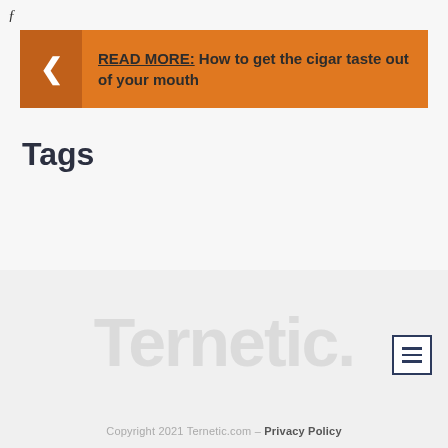ƒ
READ MORE: How to get the cigar taste out of your mouth
Tags
[Figure (logo): Ternetic.com watermark logo in light gray with hamburger menu icon]
Copyright 2021 Ternetic.com – Privacy Policy